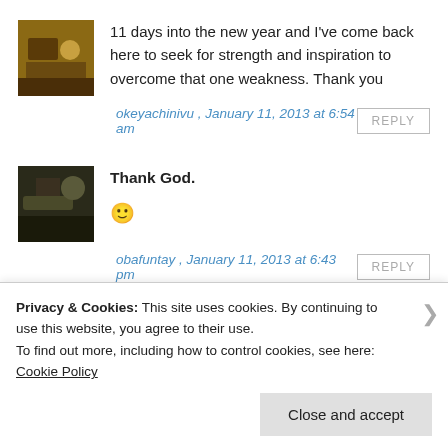11 days into the new year and I've come back here to seek for strength and inspiration to overcome that one weakness. Thank you
okeyachinivu , January 11, 2013 at 6:54 am
Thank God.
🙂
obafuntay , January 11, 2013 at 6:43 pm
Privacy & Cookies: This site uses cookies. By continuing to use this website, you agree to their use.
To find out more, including how to control cookies, see here: Cookie Policy